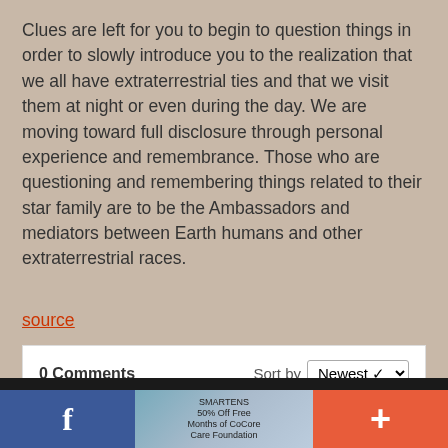Clues are left for you to begin to question things in order to slowly introduce you to the realization that we all have extraterrestrial ties and that we visit them at night or even during the day. We are moving toward full disclosure through personal experience and remembrance. Those who are questioning and remembering things related to their star family are to be the Ambassadors and mediators between Earth humans and other extraterrestrial races.
source
0 Comments  Sort by Newest
This website uses cookies to improve your experience. We'll assume you're ok with this, but you can opt-out if you wish.